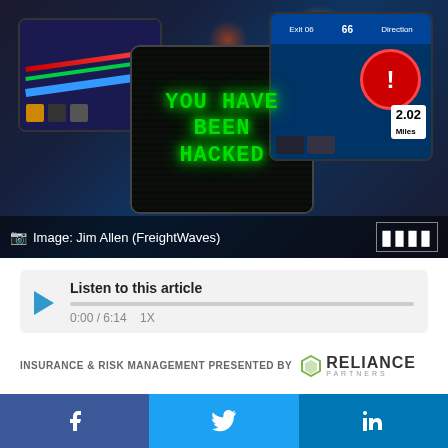[Figure (photo): Three tablets/GPS devices showing navigation screens. The center tablet displays a hacked screen reading 'YOU HAVE BEEN HACKED' in green text on black background with matrix-style code.]
Image: Jim Allen (FreightWaves)
[Figure (other): Audio player widget with play button, progress bar, timestamp 0:00 / 6:14 and 1X speed label. Label: Listen to this article]
INSURANCE & RISK MANAGEMENT PRESENTED BY RELIANCE PARTNERS
The emergence of freight-tech has transformed the transportation and logistics landscape. Everything from freight